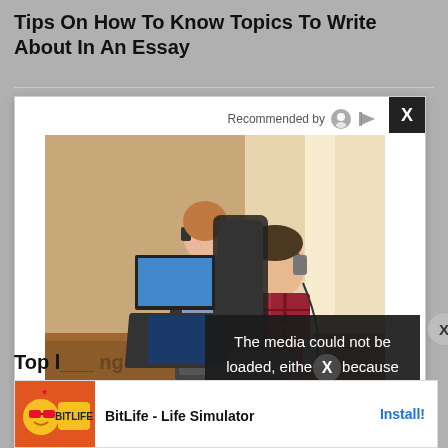Tips On How To Know Topics To Write About In An Essay
[Figure (screenshot): Ad/media popup overlay on article page showing two people working at computers with headphones, with a 'Recommended by' label, close X button, 'Sponsored' tag, blurred text, and a media error message overlay reading 'The media could not be loaded, either because the server or network failed or because the format is not supported.']
[Figure (screenshot): Bottom banner ad for BitLife - Life Simulator app with orange background, cartoon character, and Install button]